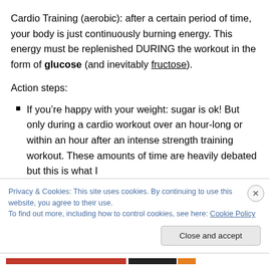Cardio Training (aerobic): after a certain period of time, your body is just continuously burning energy. This energy must be replenished DURING the workout in the form of glucose (and inevitably fructose).
Action steps:
If you’re happy with your weight: sugar is ok! But only during a cardio workout over an hour-long or within an hour after an intense strength training workout. These amounts of time are heavily debated but this is what I
Privacy & Cookies: This site uses cookies. By continuing to use this website, you agree to their use.
To find out more, including how to control cookies, see here: Cookie Policy
Close and accept